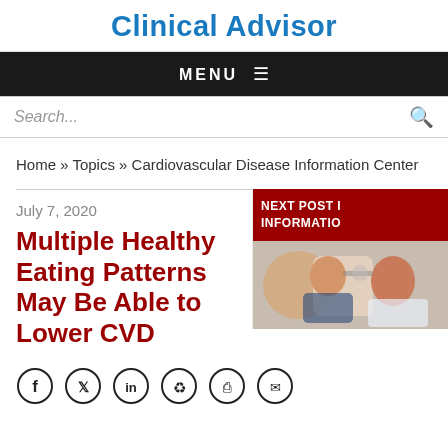Clinical Advisor
MENU
Search...
Home » Topics » Cardiovascular Disease Information Center
July 7, 2020
Multiple Healthy Eating Patterns May Be Able to Lower CVD
[Figure (screenshot): Next post in Cardiovascular Disease Information Center sidebar with doctor examining patient image]
[Figure (illustration): Social share icons: Facebook, Twitter, LinkedIn, Reddit, Print, Email]